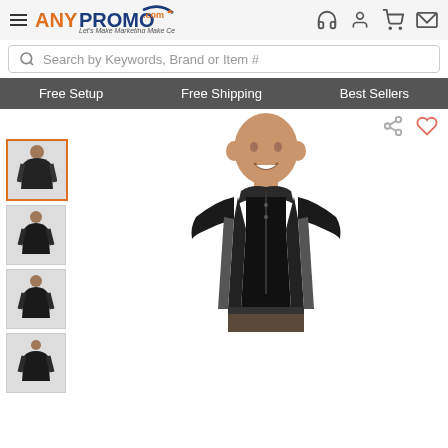AnyPromo.com - Let's Make Marketing Make Cents
Search by Keywords, Brand or Item #
Free Setup | Free Shipping | Best Sellers
[Figure (photo): Man wearing a black polo shirt with gray side accents, shown from waist up, smiling, with four thumbnail images on the left side showing different angles of the same shirt]